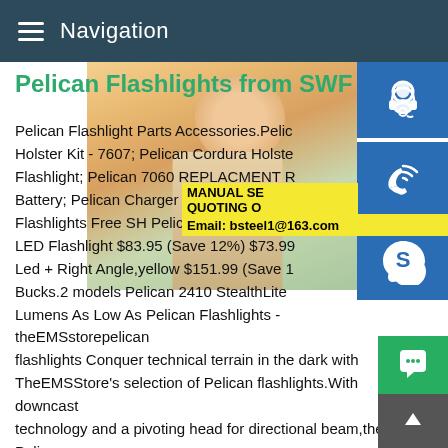Navigation
Pelican Flashlights from SWF
[Figure (photo): Customer service representative woman wearing headset, with blue icon buttons on right side (headset icon, phone icon, Skype icon), yellow overlay bars with MANUAL SE... QUOTING O... and Email: bsteel1@163.com, and green chat button and grey back-to-top button at bottom right.]
Pelican Flashlight Parts Accessories.Pelican Holster Kit - 7607; Pelican Cordura Holste Flashlight; Pelican 7060 REPLACMENT R Battery; Pelican Charger Base Unit only; S Flashlights Free SH Pelican Light,Pelican LED Flashlight $83.95 (Save 12%) $73.99 Led + Right Angle,yellow $151.99 (Save 1 Bucks.2 models Pelican 2410 StealthLite Lumens As Low As Pelican Flashlights - theEMSstorepelican flashlights Conquer technical terrain in the dark with TheEMSStore's selection of Pelican flashlights.With downcast technology and a pivoting head for directional beam,the Pelican LED headlight with 430 lumens illuminates everything in front everything below - it also has a flashing mode can be used as